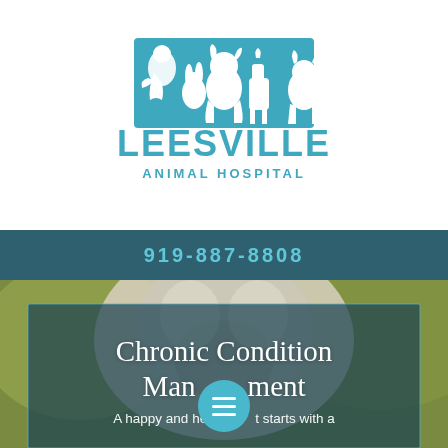[Figure (logo): Leesville Animal Hospital logo: teal square with white silhouettes of a parrot, rabbit, dog, horse, and cat, with 'LEESVILLE' in large teal letters and 'ANIMAL HOSPITAL' below in smaller teal letters]
919-887-8808
[Figure (photo): Close-up photo of a large dog (appears to be a light-colored breed, possibly a Great Pyrenees or similar) with blurred green background]
Chronic Condition Management
A happy and healthy pet starts with a